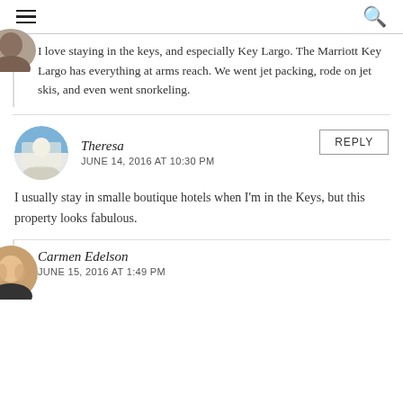≡  🔍
I love staying in the keys, and especially Key Largo. The Marriott Key Largo has everything at arms reach. We went jet packing, rode on jet skis, and even went snorkeling.
Theresa
JUNE 14, 2016 AT 10:30 PM
I usually stay in smalle boutique hotels when I'm in the Keys, but this property looks fabulous.
Carmen Edelson
JUNE 15, 2016 AT 1:49 PM